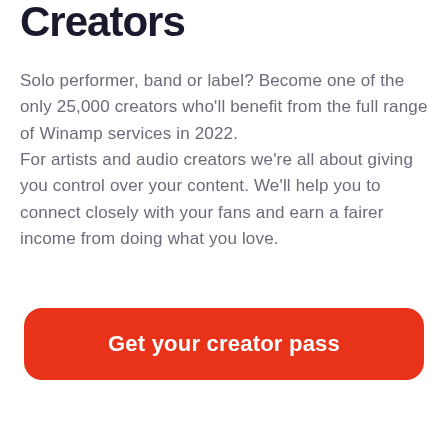Creators
Solo performer, band or label? Become one of the only 25,000 creators who'll benefit from the full range of Winamp services in 2022.
For artists and audio creators we're all about giving you control over your content. We'll help you to connect closely with your fans and earn a fairer income from doing what you love.
Get your creator pass